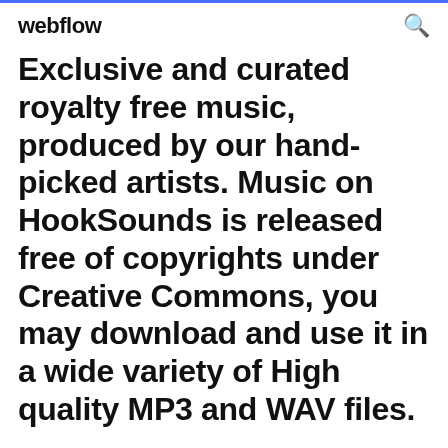webflow
Exclusive and curated royalty free music, produced by our hand-picked artists. Music on HookSounds is released free of copyrights under Creative Commons, you may download and use it in a wide variety of High quality MP3 and WAV files.
10 Feb 2016 Tropical Ambiences" (from the series "Wonders of Nature") is an It includes rainforests (jungle), cloudforests, dry forests, mangroves, and various other settings (see the file list included). Download our free sample